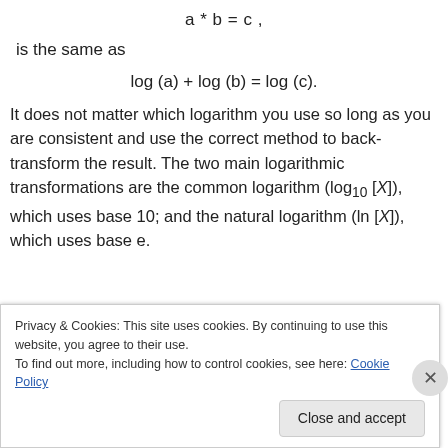is the same as
It does not matter which logarithm you use so long as you are consistent and use the correct method to back-transform the result. The two main logarithmic transformations are the common logarithm (log₁₀ [X]), which uses base 10; and the natural logarithm (ln [X]), which uses base e.
Privacy & Cookies: This site uses cookies. By continuing to use this website, you agree to their use.
To find out more, including how to control cookies, see here: Cookie Policy